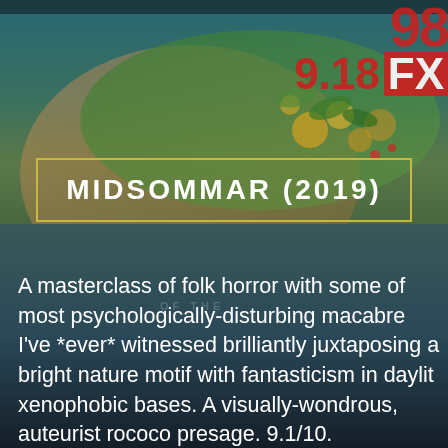[Figure (photo): Movie poster style background image showing a woman with flowers in her hair and a teal/green cinematic backdrop. Top right shows red FX network branding with date '9.18' and partial numbers.]
MIDSOMMAR (2019)
A masterclass of folk horror with some of most psychologically-disturbing macabre I've *ever* witnessed brilliantly juxtaposing a bright nature motif with fantasticism in daylit xenophobic bases. A visually-wondrous, auteurist rococo presage. 9.1/10.